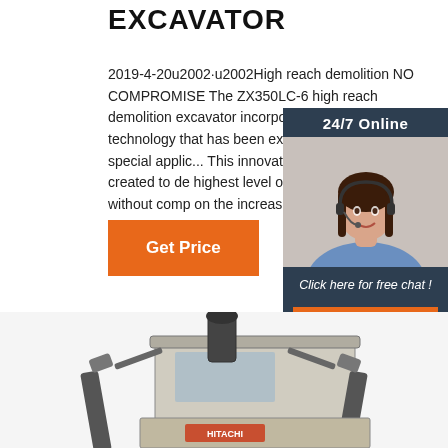EXCAVATOR
2019-4-20u2002·u2002High reach demolition NO COMPROMISE The ZX350LC-6 high reach demolition excavator incorporates unique Hitachi technology that has been expertly developed for special applic... This innovative model has been created to del... highest level of performance, but without comp... on the increasing demand for operational
[Figure (other): 24/7 Online chat widget with female customer service agent wearing headset, with orange QUOTATION button and 'Click here for free chat!' text]
Get Price
[Figure (photo): Partial view of a Hitachi ZX350LC-6 high reach demolition excavator, showing the upper cab portion and boom attachment from a low angle against a white background]